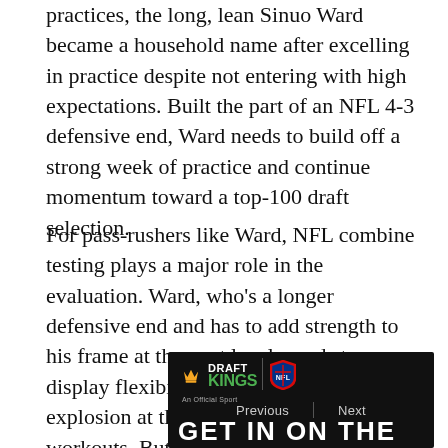practices, the long, lean Sinuo Ward became a household name after excelling in practice despite not entering with high expectations. Built the part of an NFL 4-3 defensive end, Ward needs to build off a strong week of practice and continue momentum toward a top-100 draft selection.
For pass-rushers like Ward, NFL combine testing plays a major role in the evaluation. Ward, who's a longer defensive end and has to add strength to his frame at the next level, needs to display flexibility and lower-half explosion at the combine and in team workouts. But after a strong Senior Bowl, don't be surprised if Ward emerges as an early-round sleeper in the process.
[Figure (other): DraftKings NFL advertisement banner with 'GET IN ON THE' headline, Previous/Next navigation, and DraftKings logo with NFL shield]